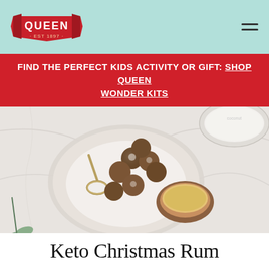QUEEN EST 1897
FIND THE PERFECT KIDS ACTIVITY OR GIFT: SHOP QUEEN WONDER KITS
[Figure (photo): Overhead photo of chocolate rum balls dusted with powdered sugar on a ceramic plate, with a measuring spoon of coconut, a coconut shell half filled with rum, a glass bowl of desiccated coconut, and eucalyptus leaves on a marble surface.]
Keto Christmas Rum